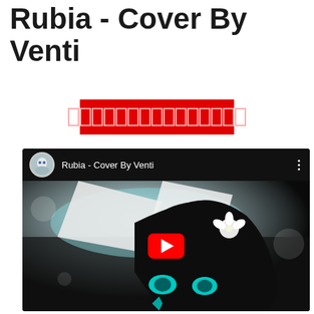Rubia - Cover By Venti
[Figure (other): Red button with outlined square characters (Thai/Unicode text rendered as boxes)]
[Figure (screenshot): YouTube video embed showing 'Rubia - Cover By Venti' with anime-style thumbnail featuring a character with black hair and white flower, with a play button overlay]